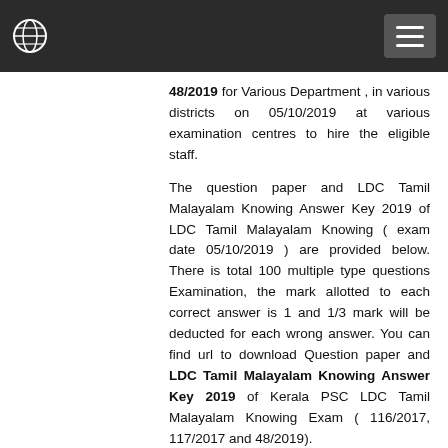Navigation bar with globe icon and menu button
48/2019 for Various Department , in various districts on 05/10/2019 at various examination centres to hire the eligible staff.
The question paper and LDC Tamil Malayalam Knowing Answer Key 2019 of LDC Tamil Malayalam Knowing ( exam date 05/10/2019 ) are provided below. There is total 100 multiple type questions Examination, the mark allotted to each correct answer is 1 and 1/3 mark will be deducted for each wrong answer. You can find url to download Question paper and LDC Tamil Malayalam Knowing Answer Key 2019 of Kerala PSC LDC Tamil Malayalam Knowing Exam ( 116/2017, 117/2017 and 48/2019).
Various Department LDC Tamil Malayalam Knowing Answer Key 116/2017, 117/2017 and 48/2019